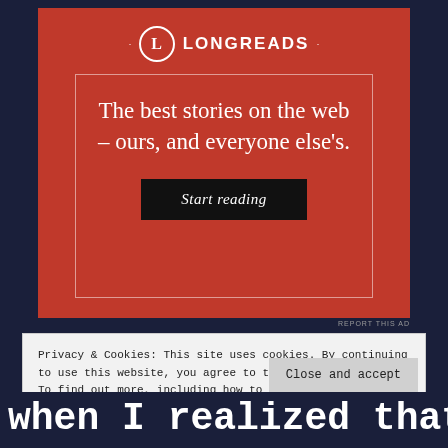[Figure (logo): Longreads advertisement banner on red background. Shows the Longreads logo (circle with L), tagline 'The best stories on the web – ours, and everyone else's.' and a 'Start reading' button.]
REPORT THIS AD
Privacy & Cookies: This site uses cookies. By continuing to use this website, you agree to their use.
To find out more, including how to control cookies, see here: Cookie Policy
Close and accept
when I realized that I